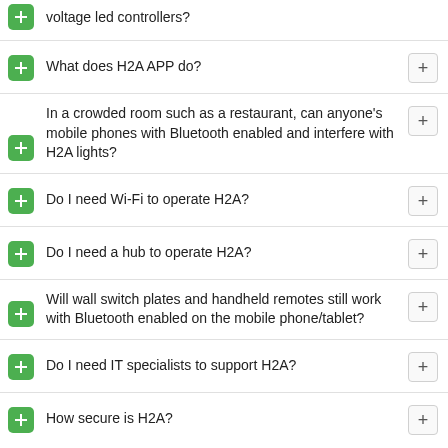voltage led controllers?
What does H2A APP do?
In a crowded room such as a restaurant, can anyone's mobile phones with Bluetooth enabled and interfere with H2A lights?
Do I need Wi-Fi to operate H2A?
Do I need a hub to operate H2A?
Will wall switch plates and handheld remotes still work with Bluetooth enabled on the mobile phone/tablet?
Do I need IT specialists to support H2A?
How secure is H2A?